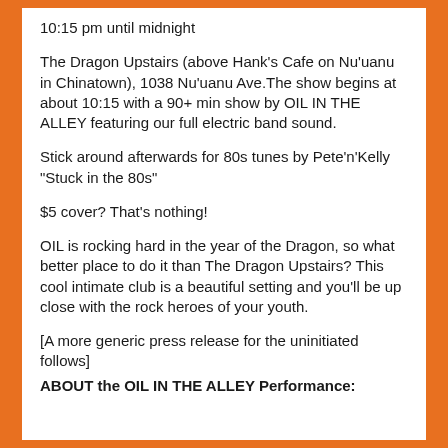10:15 pm until midnight
The Dragon Upstairs (above Hank’s Cafe on Nu’uanu in Chinatown), 1038 Nu’uanu Ave.The show begins at about 10:15 with a 90+ min show by OIL IN THE ALLEY featuring our full electric band sound.
Stick around afterwards for 80s tunes by Pete’n’Kelly “Stuck in the 80s”
$5 cover? That’s nothing!
OIL is rocking hard in the year of the Dragon, so what better place to do it than The Dragon Upstairs? This cool intimate club is a beautiful setting and you’ll be up close with the rock heroes of your youth.
[A more generic press release for the uninitiated follows]
ABOUT the OIL IN THE ALLEY Performance: